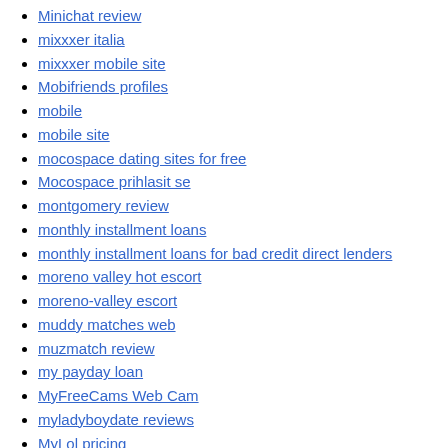Minichat review
mixxxer italia
mixxxer mobile site
Mobifriends profiles
mobile
mobile site
mocospace dating sites for free
Mocospace prihlasit se
montgomery review
monthly installment loans
monthly installment loans for bad credit direct lenders
moreno valley hot escort
moreno-valley escort
muddy matches web
muzmatch review
my payday loan
MyFreeCams Web Cam
myladyboydate reviews
MyLol pricing
NakedCams Big Dick Live Porn Chat
naughtydate de review
new-york-city dating
newport-news escort service
nicaraguan-dating sign in
no verification payday loans